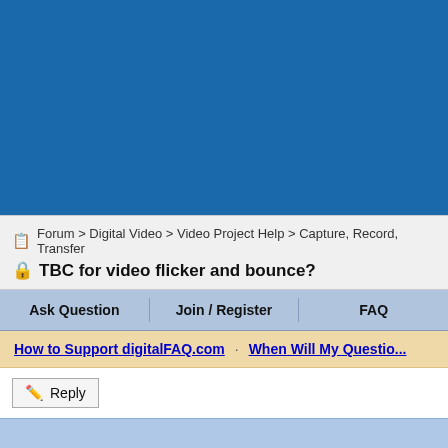[Figure (other): Blue banner / header area at top of webpage]
Forum > Digital Video > Video Project Help > Capture, Record, Transfer
TBC for video flicker and bounce?
Ask Question | Join / Register | FAQ
How to Support digitalFAQ.com · When Will My Question...
Reply
[Figure (other): Light blue bar at bottom of page]